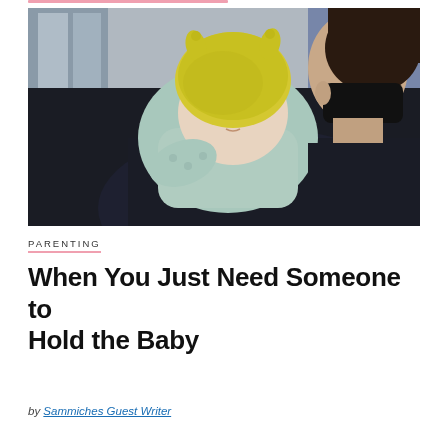[Figure (photo): A masked woman (face not visible, wearing black mask and dark top) holds a baby dressed in a light teal hooded outfit and a yellow knit hat with small horns/ears. The baby looks upward with wide eyes. Background shows a store interior with blurred shelving.]
PARENTING
When You Just Need Someone to Hold the Baby
by Sammiches Guest Writer